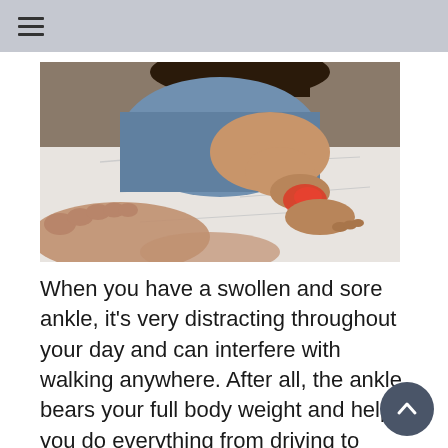≡
[Figure (photo): Person sitting on a bed holding their ankle/foot, which is highlighted in red to indicate pain or swelling. Both feet are visible, with the person wearing blue clothing.]
When you have a swollen and sore ankle, it's very distracting throughout your day and can interfere with walking anywhere. After all, the ankle bears your full body weight and helps you do everything from driving to working to doing